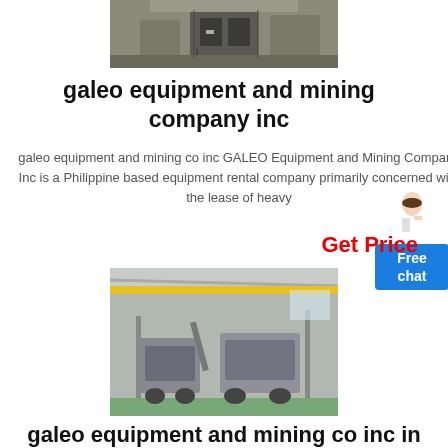[Figure (photo): Industrial mining facility building exterior, grey concrete structure with doors]
galeo equipment and mining company inc
galeo equipment and mining co inc GALEO Equipment and Mining Company Inc is a Philippine based equipment rental company primarily concerned with the lease of heavy
[Figure (illustration): Chat widget with woman figure and Free chat blue button]
Get Price
[Figure (photo): Industrial warehouse interior with heavy mobile crushing equipment on tracks under yellow crane]
galeo equipment and mining co inc in